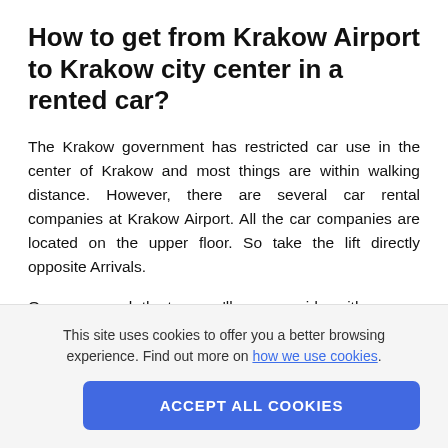How to get from Krakow Airport to Krakow city center in a rented car?
The Krakow government has restricted car use in the center of Krakow and most things are within walking distance. However, there are several car rental companies at Krakow Airport. All the car companies are located on the upper floor. So take the lift directly opposite Arrivals.
Once you reach the top, you’ll see a corridor with
This site uses cookies to offer you a better browsing experience. Find out more on how we use cookies.